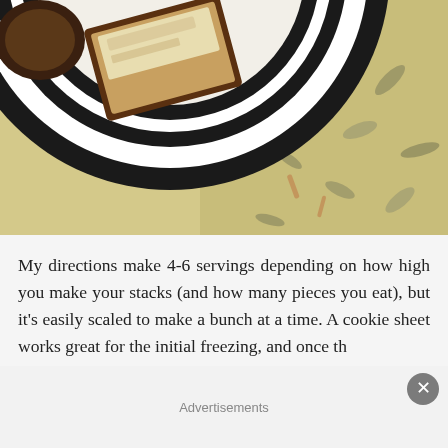[Figure (photo): A plate with black and white concentric ring border design, containing a slice of baked good (appears to be cake or bread). Background shows a decorative surface with leaf/botanical pattern.]
My directions make 4-6 servings depending on how high you make your stacks (and how many pieces you eat), but it's easily scaled to make a bunch at a time. A cookie sheet works great for the initial freezing, and once th
Advertisements